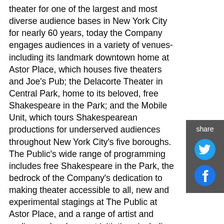theater for one of the largest and most diverse audience bases in New York City for nearly 60 years, today the Company engages audiences in a variety of venues-including its landmark downtown home at Astor Place, which houses five theaters and Joe's Pub; the Delacorte Theater in Central Park, home to its beloved, free Shakespeare in the Park; and the Mobile Unit, which tours Shakespearean productions for underserved audiences throughout New York City's five boroughs. The Public's wide range of programming includes free Shakespeare in the Park, the bedrock of the Company's dedication to making theater accessible to all, new and experimental stagings at The Public at Astor Place, and a range of artist and audience development initiatives including its Public Forum series, which brings together theater artists and professionals from a variety of disciplines for discussions that shed light on social issues explored in Public productions. The Public Theater